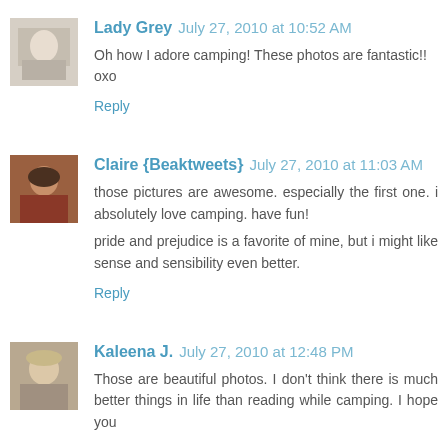[Figure (photo): Avatar photo of Lady Grey]
Lady Grey July 27, 2010 at 10:52 AM
Oh how I adore camping! These photos are fantastic!! oxo
Reply
[Figure (photo): Avatar photo of Claire {Beaktweets}]
Claire {Beaktweets} July 27, 2010 at 11:03 AM
those pictures are awesome. especially the first one. i absolutely love camping. have fun!
pride and prejudice is a favorite of mine, but i might like sense and sensibility even better.
Reply
[Figure (photo): Avatar photo of Kaleena J.]
Kaleena J. July 27, 2010 at 12:48 PM
Those are beautiful photos. I don't think there is much better things in life than reading while camping. I hope you